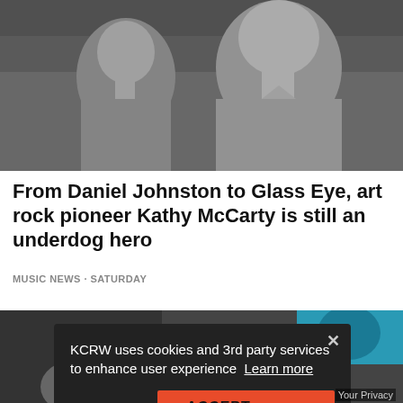[Figure (photo): Black and white photo of two people, a younger woman on the left looking at an older man on the right, outdoors with foliage in background]
From Daniel Johnston to Glass Eye, art rock pioneer Kathy McCarty is still an underdog hero
MUSIC NEWS · SATURDAY
[Figure (photo): Partial view of a second article image partially obscured by cookie consent overlay]
KCRW uses cookies and 3rd party services to enhance user experience  Learn more
OPT-OUT
ACCEPT
Your Privacy